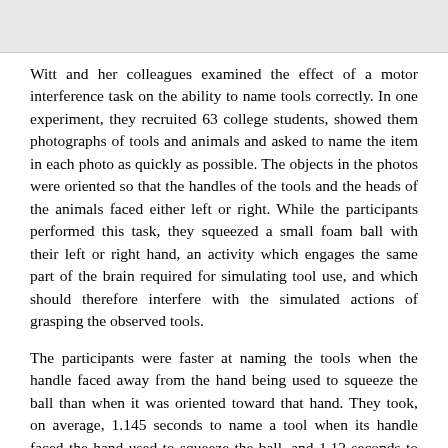Witt and her colleagues examined the effect of a motor interference task on the ability to name tools correctly. In one experiment, they recruited 63 college students, showed them photographs of tools and animals and asked to name the item in each photo as quickly as possible. The objects in the photos were oriented so that the handles of the tools and the heads of the animals faced either left or right. While the participants performed this task, they squeezed a small foam ball with their left or right hand, an activity which engages the same part of the brain required for simulating tool use, and which should therefore interfere with the simulated actions of grasping the observed tools.
The participants were faster at naming the tools when the handle faced away from the hand being used to squeeze the ball than when it was oriented toward that hand. They took, on average, 1.145 seconds to name a tool when its handle faced the hand used to squeeze the ball, and 1.12 seconds to name tools when the handle faced away from it. That is, it took them about 25 thousandths of a second longer to identify the tools whose handles faced the occupied hand. This is a small